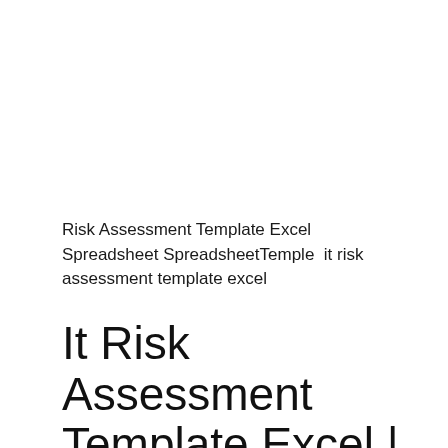Risk Assessment Template Excel Spreadsheet SpreadsheetTemple  it risk assessment template excel
It Risk Assessment Template Excel | Risk Assessment Template Excel